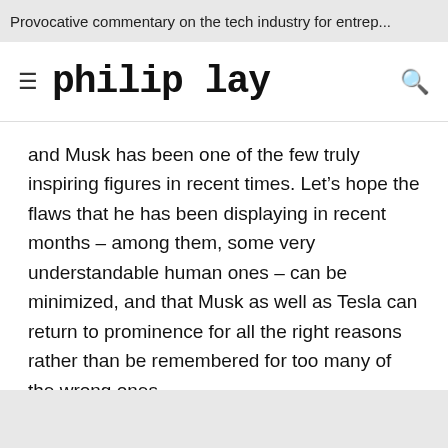Provocative commentary on the tech industry for entrep...
philip lay
and Musk has been one of the few truly inspiring figures in recent times. Let’s hope the flaws that he has been displaying in recent months – among them, some very understandable human ones – can be minimized, and that Musk as well as Tesla can return to prominence for all the right reasons rather than be remembered for too many of the wrong ones.